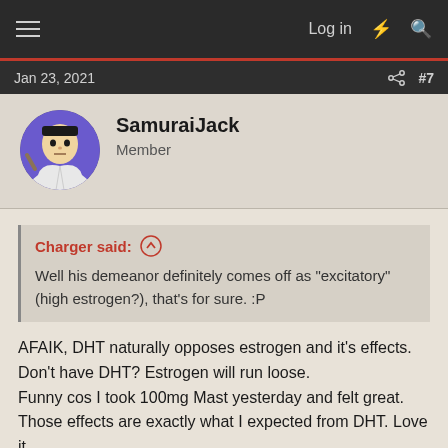Log in  #7
Jan 23, 2021  #7
SamuraiJack
Member
Charger said: ↑
Well his demeanor definitely comes off as "excitatory" (high estrogen?), that's for sure. :P
AFAIK, DHT naturally opposes estrogen and it's effects. Don't have DHT? Estrogen will run loose.
Funny cos I took 100mg Mast yesterday and felt great. Those effects are exactly what I expected from DHT. Love it.
Jan 23, 2021  #8
Dobbler